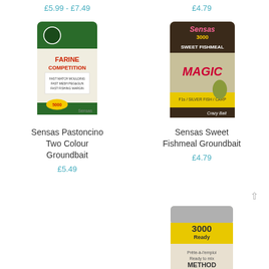£5.99 - £7.49
£4.79
[Figure (photo): Sensas Farine Competition groundbait bag]
[Figure (photo): Sensas 3000 Sweet Fishmeal Magic groundbait bag]
Sensas Pastoncino Two Colour Groundbait
Sensas Sweet Fishmeal Groundbait
£5.49
£4.79
[Figure (photo): Sensas 3000 Ready Method groundbait bag, partially visible at bottom]